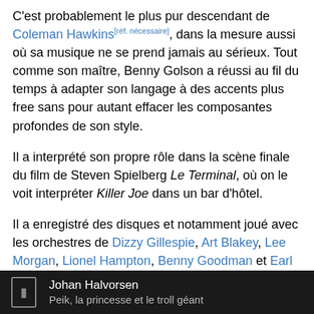C'est probablement le plus pur descendant de Coleman Hawkins[réf. nécessaire], dans la mesure aussi où sa musique ne se prend jamais au sérieux. Tout comme son maître, Benny Golson a réussi au fil du temps à adapter son langage à des accents plus free sans pour autant effacer les composantes profondes de son style.
Il a interprété son propre rôle dans la scène finale du film de Steven Spielberg Le Terminal, où on le voit interpréter Killer Joe dans un bar d'hôtel.
Il a enregistré des disques et notamment joué avec les orchestres de Dizzy Gillespie, Art Blakey, Lee Morgan, Lionel Hampton, Benny Goodman et Earl Bostic. Il a également écrit des mélodies pour des chanteuses comme Peggy Lee, Eartha Kitt, Connie Francis, Ella Fitzgerald, Diana Ross. Il a également composé des musiques dans
Johan Halvorsen
Peik, la princesse et le troll géant